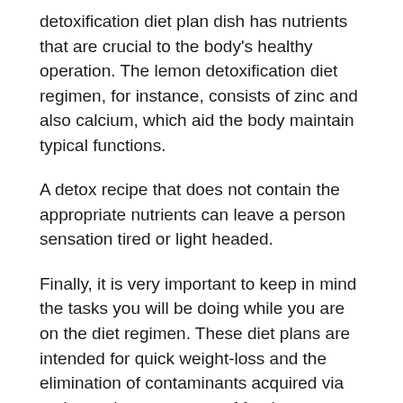detoxification diet plan dish has nutrients that are crucial to the body's healthy operation. The lemon detoxification diet regimen, for instance, consists of zinc and also calcium, which aid the body maintain typical functions.
A detox recipe that does not contain the appropriate nutrients can leave a person sensation tired or light headed.
Finally, it is very important to keep in mind the tasks you will be doing while you are on the diet regimen. These diet plans are intended for quick weight-loss and the elimination of contaminants acquired via various other resources of food.
Exercise Regimen for Detox